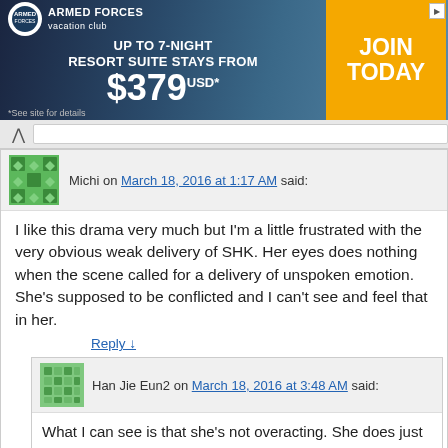[Figure (other): Armed Forces Vacation Club advertisement banner: Up to 7-night resort suite stays from $379 USD, Join Today]
Michi on March 18, 2016 at 1:17 AM said:
I like this drama very much but I'm a little frustrated with the very obvious weak delivery of SHK. Her eyes does nothing when the scene called for a delivery of unspoken emotion. She's supposed to be conflicted and I can't see and feel that in her.
Reply ↓
Han Jie Eun2 on March 18, 2016 at 3:48 AM said:
What I can see is that she's not overacting. She does just fine.
Reply ↓
Me on March 18, 2016 at 4:36 AM said: